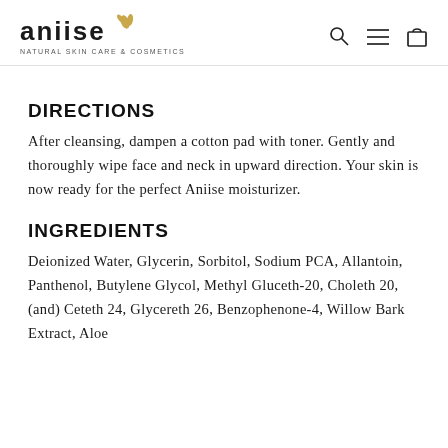aniise NATURAL SKIN CARE & COSMETICS
DIRECTIONS
After cleansing, dampen a cotton pad with toner. Gently and thoroughly wipe face and neck in upward direction. Your skin is now ready for the perfect Aniise moisturizer.
INGREDIENTS
Deionized Water, Glycerin, Sorbitol, Sodium PCA, Allantoin, Panthenol, Butylene Glycol, Methyl Gluceth-20, Choleth 20, (and) Ceteth 24, Glycereth 26, Benzophenone-4, Willow Bark Extract, Aloe